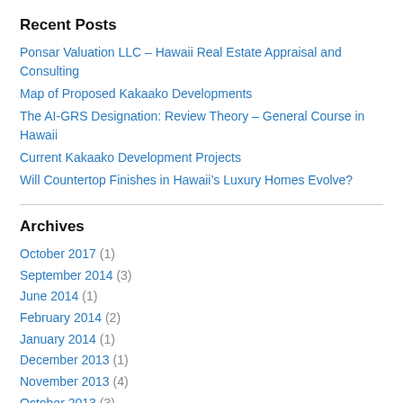Recent Posts
Ponsar Valuation LLC – Hawaii Real Estate Appraisal and Consulting
Map of Proposed Kakaako Developments
The AI-GRS Designation: Review Theory – General Course in Hawaii
Current Kakaako Development Projects
Will Countertop Finishes in Hawaii's Luxury Homes Evolve?
Archives
October 2017 (1)
September 2014 (3)
June 2014 (1)
February 2014 (2)
January 2014 (1)
December 2013 (1)
November 2013 (4)
October 2013 (3)
September 2013 (12)